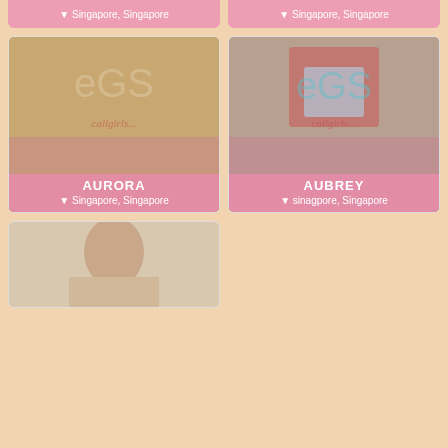[Figure (photo): Partial top card showing location label for first profile - Singapore, Singapore]
[Figure (photo): Partial top card showing location label for second profile - Singapore, Singapore]
[Figure (photo): Profile photo card for AURORA, location: Singapore, Singapore]
[Figure (photo): Profile photo card for AUBREY, location: sinagpore, Singapore]
[Figure (photo): Partial bottom profile photo card, no name/location visible]